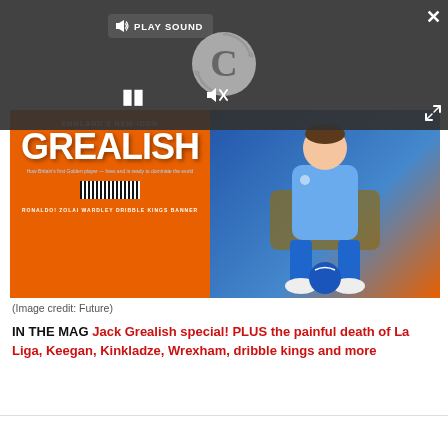[Figure (screenshot): Dark overlay media player bar with PLAY SOUND button, loading spinner (C icon), pause button, mute icon, expand/close controls shown over a magazine cover image]
[Figure (photo): Football magazine cover and photo: Left side shows 'GREALISH - ENGLAND'S NEW ICON' magazine cover on orange background. Right side shows a footballer in blue Manchester City kit sitting on a chair with a football at his feet, blue background with orange surround.]
(Image credit: Future)
IN THE MAG Jack Grealish special! PLUS the painful death of La Liga, Keegan, Kinkladze, Wrexham, dribble kings and more